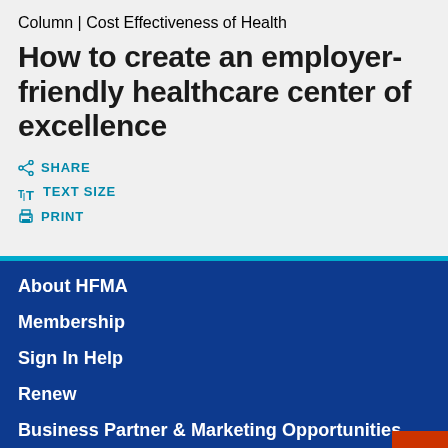Column | Cost Effectiveness of Health
How to create an employer-friendly healthcare center of excellence
SHARE
TEXT SIZE
PRINT
About HFMA
Membership
Sign In Help
Renew
Business Partner & Marketing Opportunities